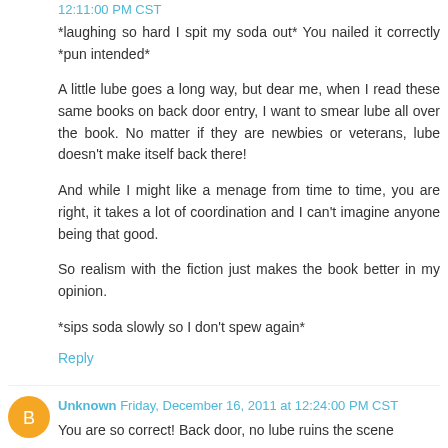12:11:00 PM CST
*laughing so hard I spit my soda out* You nailed it correctly *pun intended*

A little lube goes a long way, but dear me, when I read these same books on back door entry, I want to smear lube all over the book. No matter if they are newbies or veterans, lube doesn't make itself back there!

And while I might like a menage from time to time, you are right, it takes a lot of coordination and I can't imagine anyone being that good.

So realism with the fiction just makes the book better in my opinion.

*sips soda slowly so I don't spew again*
Reply
Unknown Friday, December 16, 2011 at 12:24:00 PM CST
You are so correct! Back door, no lube ruins the scene